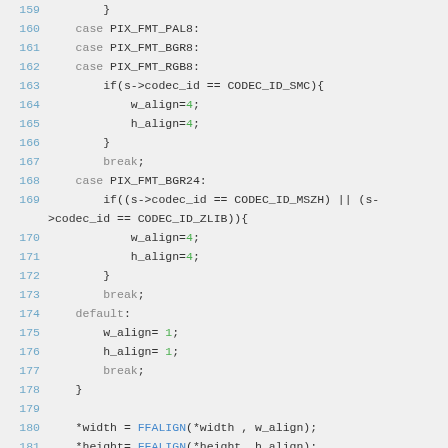Source code listing lines 159-181, C code for pixel format alignment logic